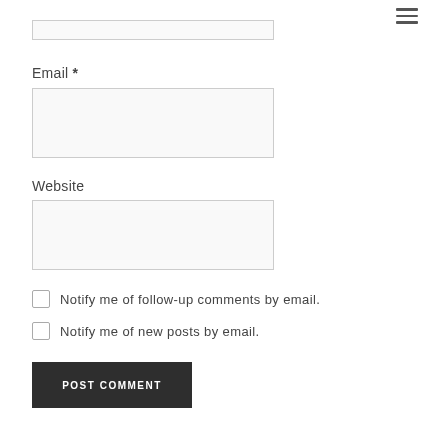[Figure (other): Hamburger menu icon (three horizontal lines) in top right area]
Email *
Website
Notify me of follow-up comments by email.
Notify me of new posts by email.
POST COMMENT